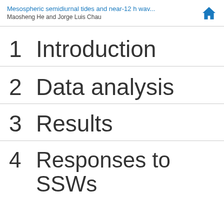Mesospheric semidiurnal tides and near-12 h wav...
Maosheng He and Jorge Luis Chau
1  Introduction
2  Data analysis
3  Results
4  Responses to SSWs